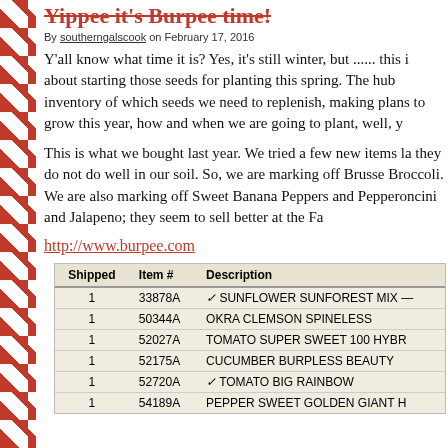Yippee it's Burpee time!
By southerngalscook on February 17, 2016
Y'all know what time it is? Yes, it's still winter, but ...... this is about starting those seeds for planting this spring. The hub inventory of which seeds we need to replenish, making plans to grow this year, how and when we are going to plant, well, y
This is what we bought last year. We tried a few new items la they do not do well in our soil. So, we are marking off Brusse Broccoli. We are also marking off Sweet Banana Peppers and Pepperoncini and Jalapeno; they seem to sell better at the Fa
http://www.burpee.com
| Shipped | Item # | Description |
| --- | --- | --- |
| 1 | 33878A | ✓ SUNFLOWER SUNFOREST MIX — |
| 1 | 50344A | OKRA CLEMSON SPINELESS |
| 1 | 52027A | TOMATO SUPER SWEET 100 HYBR |
| 1 | 52175A | CUCUMBER BURPLESS BEAUTY |
| 1 | 52720A | ✓ TOMATO BIG RAINBOW |
| 1 | 54189A | PEPPER SWEET GOLDEN GIANT H |